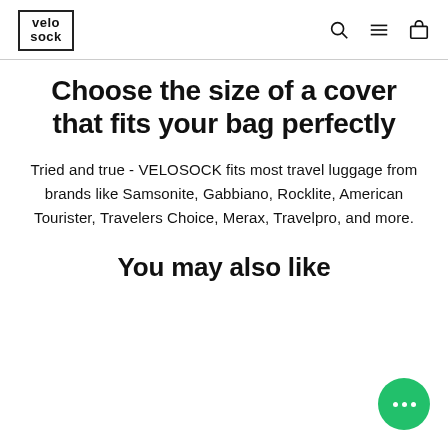velo sock
Choose the size of a cover that fits your bag perfectly
Tried and true - VELOSOCK fits most travel luggage from brands like Samsonite, Gabbiano, Rocklite, American Tourister, Travelers Choice, Merax, Travelpro, and more.
You may also like
[Figure (other): Green circular chat/messaging button with three white dots]